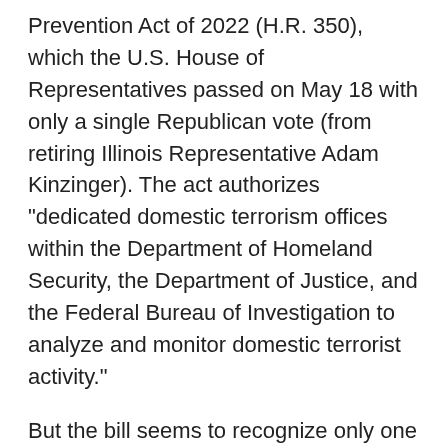Prevention Act of 2022 (H.R. 350), which the U.S. House of Representatives passed on May 18 with only a single Republican vote (from retiring Illinois Representative Adam Kinzinger). The act authorizes "dedicated domestic terrorism offices within the Department of Homeland Security, the Department of Justice, and the Federal Bureau of Investigation to analyze and monitor domestic terrorist activity."
But the bill seems to recognize only one kind of domestic terrorism, and not the most popular or prevalent. While the act uses a standard definition of "domestic terrorism," it also includes 13 references to "white supremacism" and similar terms, along with four references to